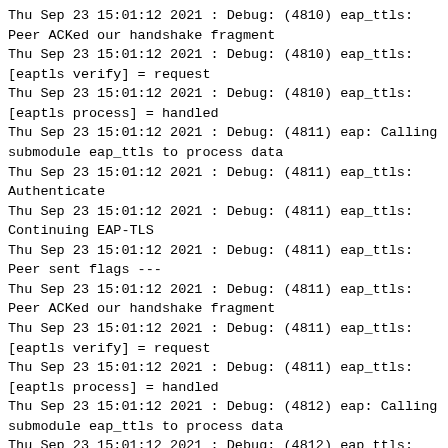Thu Sep 23 15:01:12 2021 : Debug: (4810) eap_ttls: Peer ACKed our handshake fragment
Thu Sep 23 15:01:12 2021 : Debug: (4810) eap_ttls: [eaptls verify] = request
Thu Sep 23 15:01:12 2021 : Debug: (4810) eap_ttls: [eaptls process] = handled
Thu Sep 23 15:01:12 2021 : Debug: (4811) eap: Calling submodule eap_ttls to process data
Thu Sep 23 15:01:12 2021 : Debug: (4811) eap_ttls: Authenticate
Thu Sep 23 15:01:12 2021 : Debug: (4811) eap_ttls: Continuing EAP-TLS
Thu Sep 23 15:01:12 2021 : Debug: (4811) eap_ttls: Peer sent flags ---
Thu Sep 23 15:01:12 2021 : Debug: (4811) eap_ttls: Peer ACKed our handshake fragment
Thu Sep 23 15:01:12 2021 : Debug: (4811) eap_ttls: [eaptls verify] = request
Thu Sep 23 15:01:12 2021 : Debug: (4811) eap_ttls: [eaptls process] = handled
Thu Sep 23 15:01:12 2021 : Debug: (4812) eap: Calling submodule eap_ttls to process data
Thu Sep 23 15:01:12 2021 : Debug: (4812) eap_ttls: Authenticate
Thu Sep 23 15:01:12 2021 : Debug: (4812) eap_ttls: Continuing EAP-TLS
Thu Sep 23 15:01:12 2021 : Debug: (4812) eap_ttls: Peer sent flags ---
Thu Sep 23 15:01:12 2021 : Debug: (4812) eap_ttls: Peer ACKed our handshake fragment